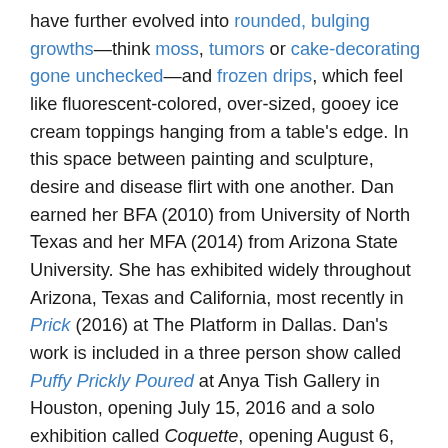have further evolved into rounded, bulging growths—think moss, tumors or cake-decorating gone unchecked—and frozen drips, which feel like fluorescent-colored, over-sized, gooey ice cream toppings hanging from a table's edge. In this space between painting and sculpture, desire and disease flirt with one another. Dan earned her BFA (2010) from University of North Texas and her MFA (2014) from Arizona State University. She has exhibited widely throughout Arizona, Texas and California, most recently in Prick (2016) at The Platform in Dallas. Dan's work is included in a three person show called Puffy Prickly Poured at Anya Tish Gallery in Houston, opening July 15, 2016 and a solo exhibition called Coquette, opening August 6, 2016, at Fort Works Art in Fort Worth, Texas. Dan lives and works in Dallas, Texas.